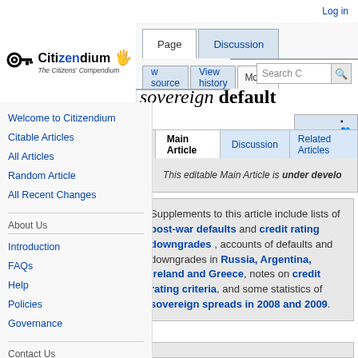Log in
[Figure (logo): Citizendium logo: key icon with text 'Citizendium - The Citizens' Compendium']
Sovereign default
This editable Main Article is under development
Supplements to this article include lists of post-war defaults and credit rating downgrades , accounts of defaults and downgrades in Russia, Argentina, Ireland and Greece, notes on credit rating criteria, and some statistics of sovereign spreads in 2008 and 2009.
Welcome to Citizendium
Citable Articles
All Articles
Random Article
All Recent Changes
About Us
Introduction
FAQs
Help
Policies
Governance
Contact Us